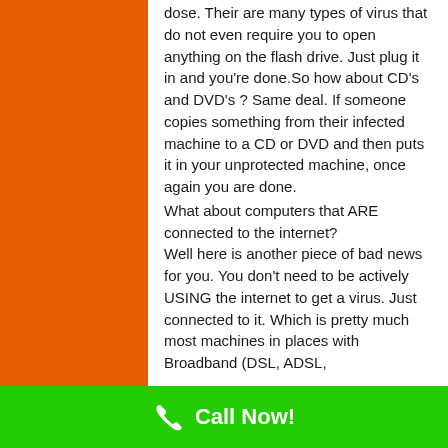dose. Their are many types of virus that do not even require you to open anything on the flash drive. Just plug it in and you're done.So how about CD's and DVD's ? Same deal. If someone copies something from their infected machine to a CD or DVD and then puts it in your unprotected machine, once again you are done.

What about computers that ARE connected to the internet?
Well here is another piece of bad news for you. You don't need to be actively USING the internet to get a virus. Just connected to it. Which is pretty much most machines in places with Broadband (DSL, ADSL,
Call Now!